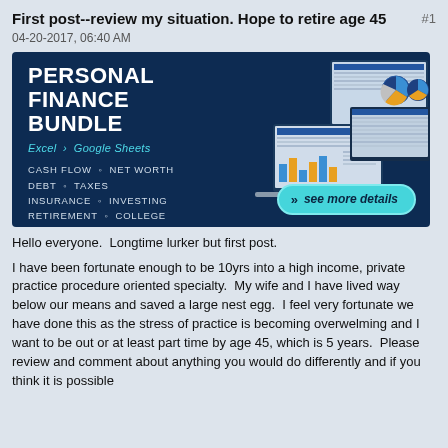First post--review my situation. Hope to retire age 45 #1
04-20-2017, 06:40 AM
[Figure (infographic): Advertisement banner for 'Personal Finance Bundle' spreadsheet product. Dark navy background with white bold text reading PERSONAL FINANCE BUNDLE, subtitle 'Excel > Google Sheets', list of topics (CASH FLOW, NET WORTH, DEBT, TAXES, INSURANCE, INVESTING, RETIREMENT, COLLEGE, ESTATE PLANNING), and an illustration of laptop and desktop monitors showing spreadsheet data. A teal 'see more details' button is in the lower right.]
Hello everyone.  Longtime lurker but first post.
I have been fortunate enough to be 10yrs into a high income, private practice procedure oriented specialty.  My wife and I have lived way below our means and saved a large nest egg.  I feel very fortunate we have done this as the stress of practice is becoming overwelming and I want to be out or at least part time by age 45, which is 5 years.  Please review and comment about anything you would do differently and if you think it is possible